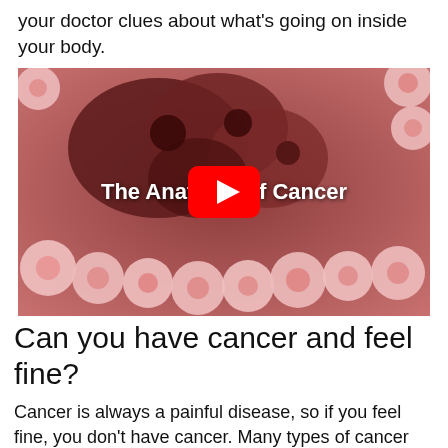your doctor clues about what's going on inside your body.
[Figure (screenshot): Video thumbnail showing microscopic view of cancer cells with a YouTube play button overlay and text 'The Anatomy of Cancer']
Can you have cancer and feel fine?
Cancer is always a painful disease, so if you feel fine, you don't have cancer. Many types of cancer cause little to no pain, especially in